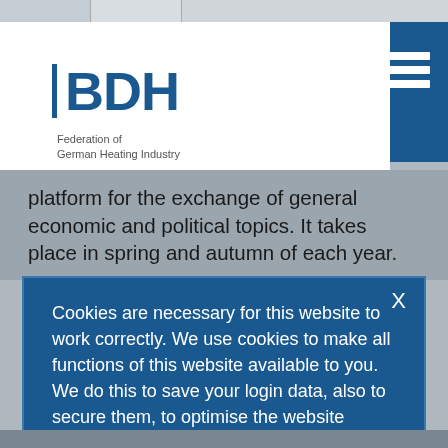[Figure (logo): BDH - Federation of German Heating Industry logo with blue text and vertical bar]
platform for the exchange of general economic and political topics. It takes place in spring and autumn of each year.
Cookies are necessary for this website to work correctly. We use cookies to make all functions of this website available to you. We do this to save your login data, also to secure them, to optimise the website functions by collecting statistical data (e.g. user flow on the website) and to offer you content tailored for you. Click "Accept all cookies" to accept cookies and visit the site. If